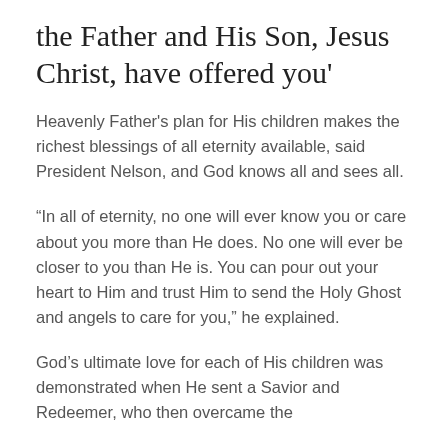the Father and His Son, Jesus Christ, have offered you'
Heavenly Father's plan for His children makes the richest blessings of all eternity available, said President Nelson, and God knows all and sees all.
“In all of eternity, no one will ever know you or care about you more than He does. No one will ever be closer to you than He is. You can pour out your heart to Him and trust Him to send the Holy Ghost and angels to care for you,” he explained.
God’s ultimate love for each of His children was demonstrated when He sent a Savior and Redeemer, who then overcame the